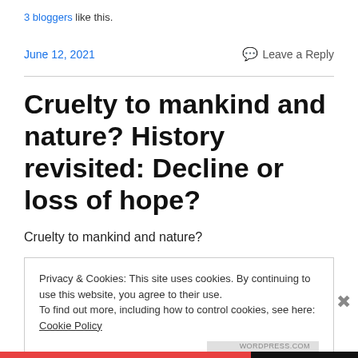3 bloggers like this.
June 12, 2021    Leave a Reply
Cruelty to mankind and nature? History revisited: Decline or loss of hope?
Cruelty to mankind and nature?
Privacy & Cookies: This site uses cookies. By continuing to use this website, you agree to their use.
To find out more, including how to control cookies, see here: Cookie Policy
Close and accept